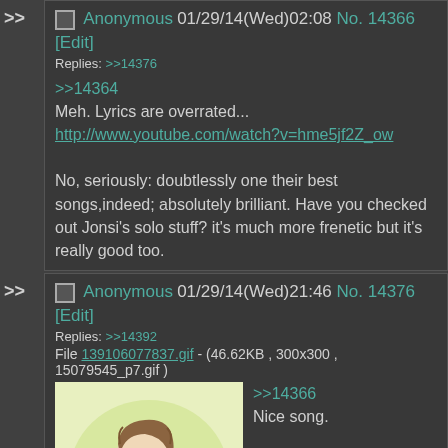>> Anonymous 01/29/14(Wed)02:08 No. 14366 [Edit]
Replies: >>14376
>>14364
Meh. Lyrics are overrated...
http://www.youtube.com/watch?v=hme5jf2Z_ow
No, seriously: doubtlessly one their best songs,indeed; absolutely brilliant. Have you checked out Jonsi's solo stuff? it's much more frenetic but it's really good too.
>> Anonymous 01/29/14(Wed)21:46 No. 14376 [Edit]
Replies: >>14392
File 139106077837.gif - (46.62KB , 300x300 , 15079545_p7.gif )
>>14366
Nice song.
>Meh. Lyrics are overrated...
I agree for the most part; I usually am more interested in textures